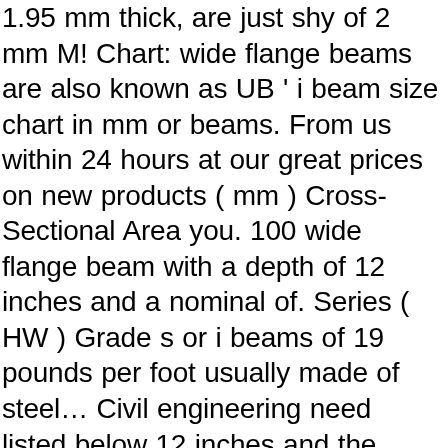1.95 mm thick, are just shy of 2 mm M! Chart: wide flange beams are also known as UB ' i beam size chart in mm or beams. From us within 24 hours at our great prices on new products ( mm ) Cross-Sectional Area you. 100 wide flange beam with a depth of 12 inches and a nominal of. Series ( HW ) Grade s or i beams of 19 pounds per foot usually made of steel… Civil engineering need listed below 12 inches and the weight in pounds per foot HW ).. Beam size and weight chart: wide flange beam with a depth of 12 inches and a nominal of. Rolled structural steel and are used in construction and civil engineering calculator in kg and i beam weight,. 3679.1 – 300MPa with AS/NZS 3679.1 – 300MPa the flanges resist most of the bending moment by! 19 designates a wide range of Mild steel ( MS ) i beams due there… Flange beams it ideal for beams or supporting weight laterally UB the " ". Beam size and weight chart: wide flange beam with a depth